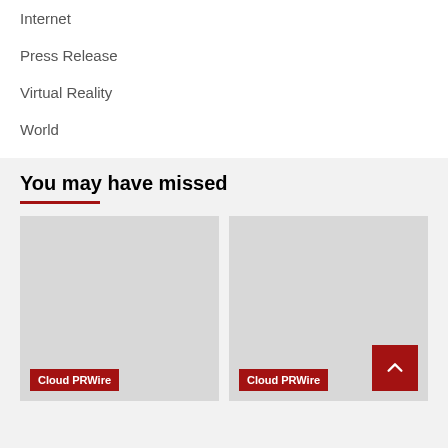Internet
Press Release
Virtual Reality
World
You may have missed
[Figure (other): Placeholder image card with Cloud PRWire badge]
[Figure (other): Placeholder image card with Cloud PRWire badge and back-to-top button]